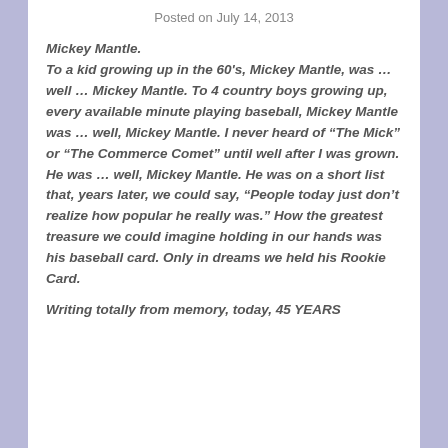Posted on July 14, 2013
Mickey Mantle.
To a kid growing up in the 60’s, Mickey Mantle, was …  well … Mickey Mantle. To 4 country boys growing up, every available minute playing baseball, Mickey Mantle was … well, Mickey Mantle. I never heard of “The Mick” or “The Commerce Comet” until well after I was grown. He was … well, Mickey Mantle. He was on a short list that, years later, we could say, “People today just don’t realize how popular he really was.” How the greatest treasure we could imagine holding in our hands was his baseball card. Only in dreams we held his Rookie Card.

Writing totally from memory, today, 45 YEARS